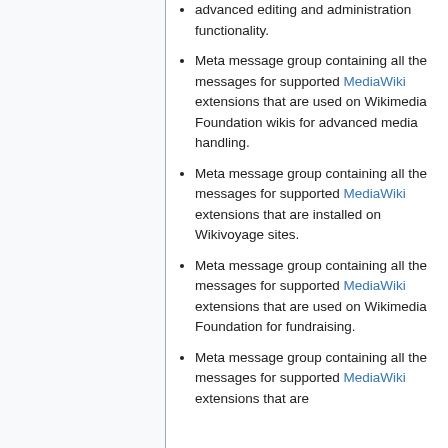advanced editing and administration functionality.
Meta message group containing all the messages for supported MediaWiki extensions that are used on Wikimedia Foundation wikis for advanced media handling.
Meta message group containing all the messages for supported MediaWiki extensions that are installed on Wikivoyage sites.
Meta message group containing all the messages for supported MediaWiki extensions that are used on Wikimedia Foundation for fundraising.
Meta message group containing all the messages for supported MediaWiki extensions that are